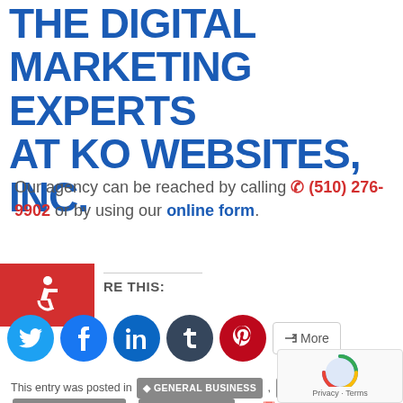THE DIGITAL MARKETING EXPERTS AT KO WEBSITES, INC.
Our agency can be reached by calling ☎ (510) 276-9902 or by using our online form.
[Figure (other): Accessibility icon (wheelchair) in red square]
RE THIS:
[Figure (other): Social share buttons: Twitter, Facebook, LinkedIn, Tumblr, Pinterest, More]
This entry was posted in GENERAL BUSINESS , KO NEWS , SEARCH AND SEO , SOCIAL MEDIA on June 26, 2017 by Kowebsites.